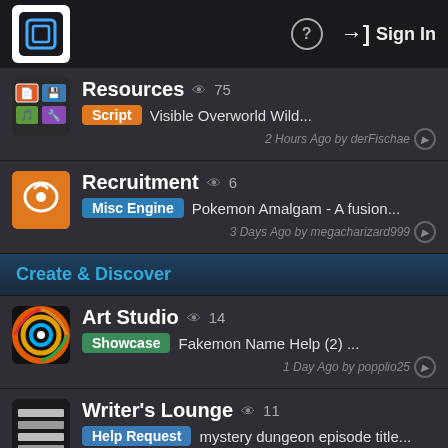Sign In
Resources  75
Script  Visible Overworld Wild...  2 Hours Ago by derFischae
Recruitment  6
Misc Engine  Pokemon Amalgam - A fusion...  3 Days Ago by megacharizard999
Create & Discover
Art Studio  14
Showcase  Fakemon Name Help (2) ...  1 Day Ago by popplio25
Writer's Lounge  11
Help Request  mystery dungeon episode title...  5 Minutes Ago by popplio25
Roleplay Theatre  11
Talk  Real-Time Roleplaying